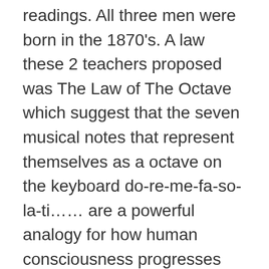readings. All three men were born in the 1870's. A law these 2 teachers proposed was The Law of The Octave which suggest that the seven musical notes that represent themselves as a octave on the keyboard do-re-me-fa-so-la-ti…… are a powerful analogy for how human consciousness progresses through reliable stages. Do correspond to giving value to something in our lives example a high priority on for instance spiritual development. Re corresponds to the application of teachings… acting on them. Mi corresponds to what arises as a result…ex. We might encounter resistance from within- a push-back to change. A critical juncture is reached Now an internal force that